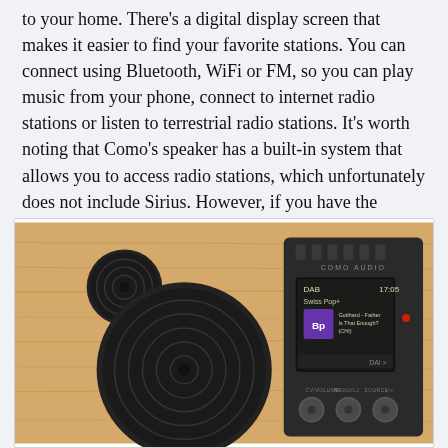to your home. There's a digital display screen that makes it easier to find your favorite stations. You can connect using Bluetooth, WiFi or FM, so you can play music from your phone, connect to internet radio stations or listen to terrestrial radio stations. It's worth noting that Como's speaker has a built-in system that allows you to access radio stations, which unfortunately does not include Sirius. However, if you have the SiriusXM app on your phone, you can simply connect using Bluetooth.
[Figure (photo): Photo of a Como Audio radio speaker with a wooden housing. The front shows two circular speaker grilles on the left side and a dark control panel on the right with a digital display screen showing 'DAB', 'Swiss Pop+', 'Gotthard - Father Is That Enough? (CHI)' with a purple album art, and three rotary knobs at the bottom labeled CV/VOLUME, MENU/LJ, and SOURCE/+.]